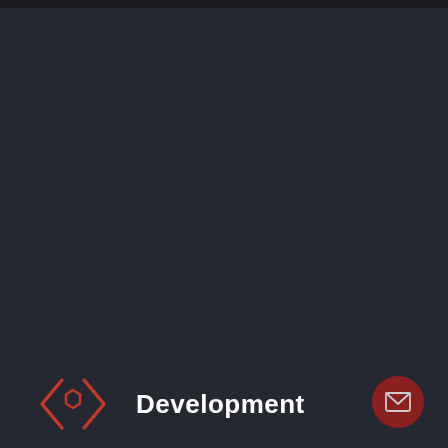[Figure (logo): Dark background screen/app page with a top navigation bar. Bottom section shows a red hexagon logo icon with angle brackets and the text 'Development' in white bold font. A dark red circular mail/envelope button appears in the bottom right corner.]